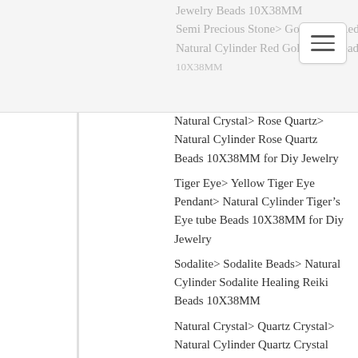Jewelry Beads 10X38MM
Semi Precious Stone> GoldStone-Red> Natural Cylinder Red Goldstone Beads 10X38MM
Natural Crystal> Rose Quartz> Natural Cylinder Rose Quartz Beads 10X38MM for Diy Jewelry
Tiger Eye> Yellow Tiger Eye Pendant> Natural Cylinder Tiger’s Eye tube Beads 10X38MM for Diy Jewelry
Sodalite> Sodalite Beads> Natural Cylinder Sodalite Healing Reiki Beads 10X38MM
Natural Crystal> Quartz Crystal> Natural Cylinder Quartz Crystal tube Beads 10X38MM for Diy Jewelry
Gemstone Jewelry> Gemstone Beads> 18MM Natural Semi Precious Stone